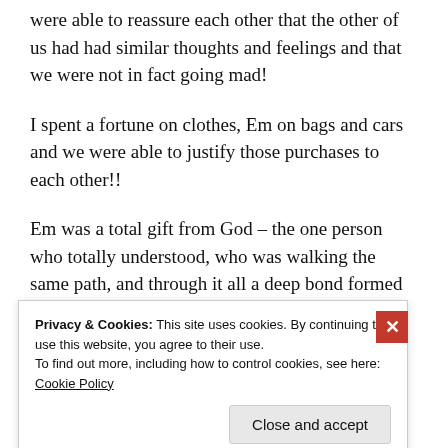were able to reassure each other that the other of us had had similar thoughts and feelings and that we were not in fact going mad!
I spent a fortune on clothes, Em on bags and cars and we were able to justify those purchases to each other!!
Em was a total gift from God – the one person who totally understood, who was walking the same path, and through it all a deep bond formed and continues
Privacy & Cookies: This site uses cookies. By continuing to use this website, you agree to their use.
To find out more, including how to control cookies, see here: Cookie Policy